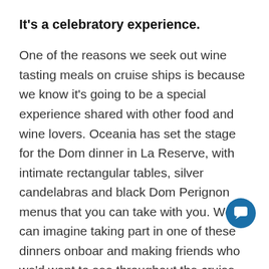It's a celebratory experience.
One of the reasons we seek out wine tasting meals on cruise ships is because we know it's going to be a special experience shared with other food and wine lovers. Oceania has set the stage for the Dom dinner in La Reserve, with intimate rectangular tables, silver candelabras and black Dom Perignon menus that you can take with you. We can imagine taking part in one of these dinners onboard and making friends who we'd want to see throughout the cruise. The meal also would be